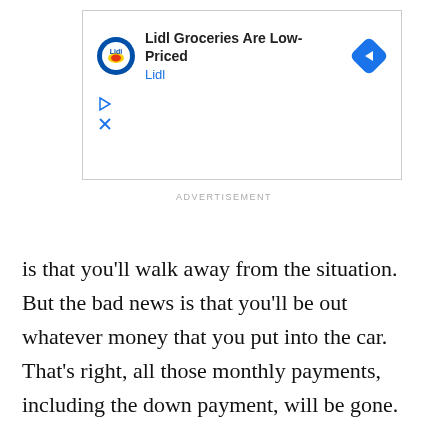[Figure (screenshot): Advertisement banner for Lidl Groceries showing Lidl logo, text 'Lidl Groceries Are Low-Priced', 'Lidl' subtitle in blue, navigation arrow icon, play and close controls]
ADVERTISEMENT
is that you'll walk away from the situation. But the bad news is that you'll be out whatever money that you put into the car. That's right, all those monthly payments, including the down payment, will be gone.
This is why it's a good idea to put as little of a down payment (cap cost reduction) on a lease as possible. In case you ever get into a car accident and insurance totals it out, you'll never